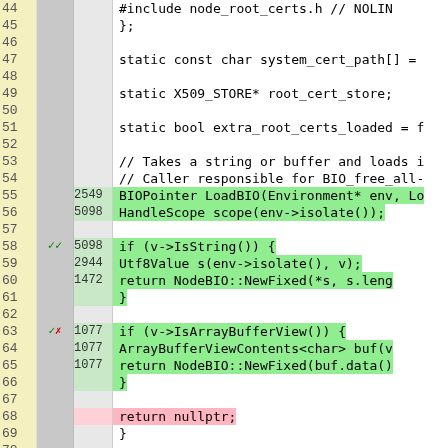[Figure (screenshot): Source code coverage viewer showing C++ code lines 44-70 with line numbers, coverage markers, hit counts, and syntax-highlighted code. Green background lines are covered, pink background lines are uncovered. Coverage column shows checkmarks and cross marks.]